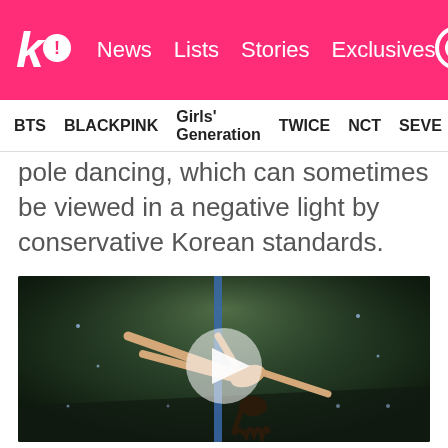koreaboo! News Lists Stories Exclusives
BTS BLACKPINK Girls' Generation TWICE NCT SEVE
pole dancing, which can sometimes be viewed in a negative light by conservative Korean standards.
[Figure (photo): A performer doing an aerial pole dance act on stage, captured mid-performance with dramatic lighting. A video play button overlay is visible in the center of the image.]